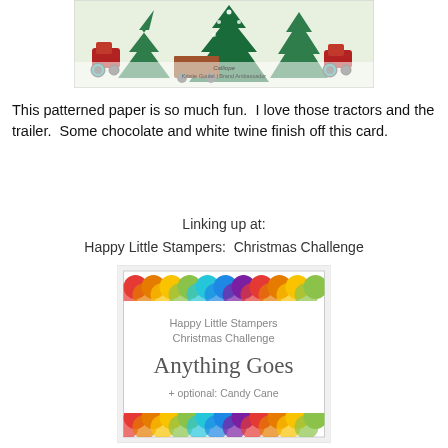[Figure (photo): Partial view of a Christmas-themed patterned paper card with red tractors, green pine trees, and teal/blue accents. Overlay text reads 'Kristie Goulet | Brand Ambassador'.]
This patterned paper is so much fun.  I love those tractors and the trailer.  Some chocolate and white twine finish off this card.
Linking up at:
Happy Little Stampers:  Christmas Challenge
[Figure (illustration): Happy Little Stampers Christmas Challenge badge. Rainbow scallop border at top and bottom. Text reads: Happy Little Stampers Christmas Challenge Anything Goes + optional: Candy Cane]